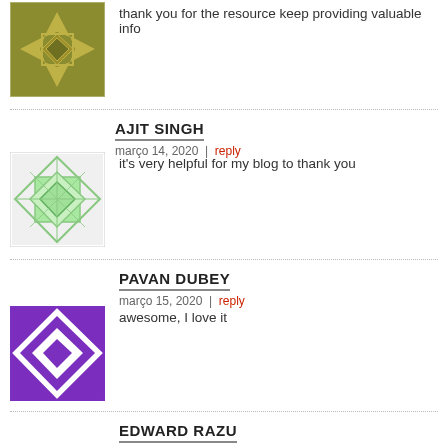[Figure (illustration): Olive/gold geometric quilt-pattern avatar]
thank you for the resource keep providing valuable info
AJIT SINGH
março 14, 2020 | reply
[Figure (illustration): Green geometric quilt-pattern avatar]
it's very helpful for my blog to thank you
PAVAN DUBEY
março 15, 2020 | reply
[Figure (illustration): Purple/white geometric diamond-pattern avatar]
awesome, I love it
EDWARD RAZU
março 24, 2020 | reply
[Figure (photo): Photo of a man, Edward Razu]
Thanks for share this amazing information. Everyone will be he